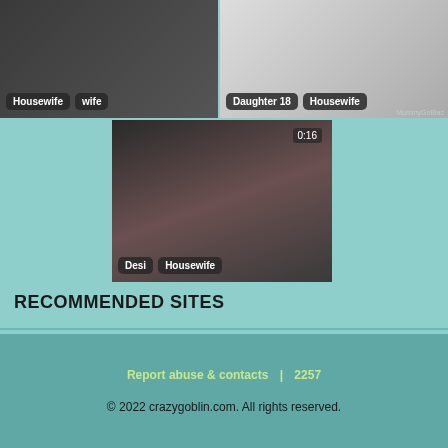[Figure (screenshot): Video thumbnail on left showing woman, tags: Housewife, wife]
[Figure (screenshot): Video thumbnail on right showing two people, tags: Daughter 18, Housewife, watermark MummyGoBlac]
[Figure (screenshot): Center video thumbnail, timer 0:16, tags: Desi, Housewife]
RECOMMENDED SITES
Report abuse & contacts | 2257
© 2022 crazygoblin.com. All rights reserved.